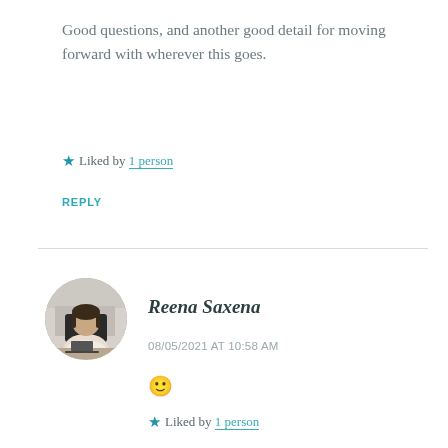Good questions, and another good detail for moving forward with wherever this goes.
★ Liked by 1 person
REPLY
[Figure (photo): Circular avatar photo of Reena Saxena, a woman seated at a desk in an office environment]
Reena Saxena
08/05/2021 AT 10:58 AM
🙂
★ Liked by 1 person